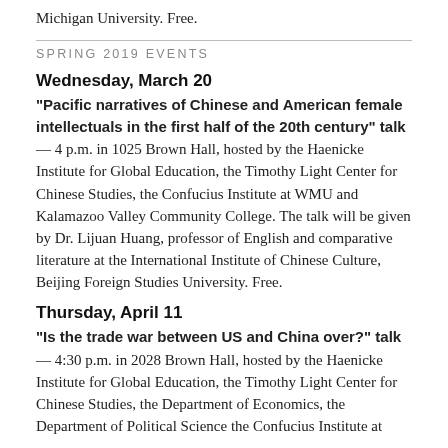Michigan University. Free.
SPRING 2019 EVENTS
Wednesday, March 20
"Pacific narratives of Chinese and American female intellectuals in the first half of the 20th century" talk— 4 p.m. in 1025 Brown Hall, hosted by the Haenicke Institute for Global Education, the Timothy Light Center for Chinese Studies, the Confucius Institute at WMU and Kalamazoo Valley Community College. The talk will be given by Dr. Lijuan Huang, professor of English and comparative literature at the International Institute of Chinese Culture, Beijing Foreign Studies University. Free.
Thursday, April 11
"Is the trade war between US and China over?" talk— 4:30 p.m. in 2028 Brown Hall, hosted by the Haenicke Institute for Global Education, the Timothy Light Center for Chinese Studies, the Department of Economics, the Department of Political Science the Confucius Institute at